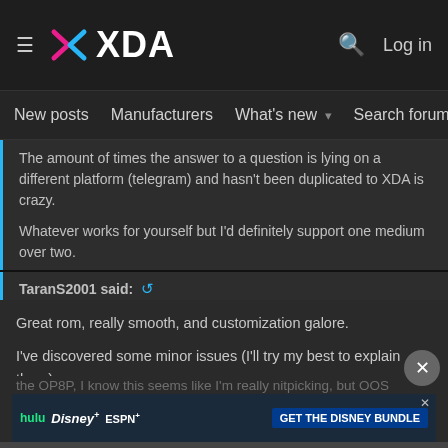XDA — New posts | Manufacturers | What's new | Search forums | Members
The amount of times the answer to a question is lying on a different platform (telegram) and hasn't been duplicated to XDA is crazy. Whatever works for yourself but I'd definitely support one medium over two.
Click to expand...
TaranS2001 said:
Great rom, really smooth, and customization galore. I've discovered some minor issues (I'll try my best to explain them) 1. Haptics aren't OOS like (This is an issue with all the custom ROMs for the OP8P, I know this seems like I'm really nitpicking, but OOS haptics IMO d...
[Figure (screenshot): Disney Bundle advertisement banner showing Hulu, Disney+, ESPN+ logos with GET THE DISNEY BUNDLE call to action button]